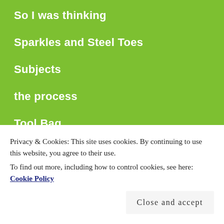So I was thinking
Sparkles and Steel Toes
Subjects
the process
Tool Bag
Trees
Privacy & Cookies: This site uses cookies. By continuing to use this website, you agree to their use.
To find out more, including how to control cookies, see here: Cookie Policy
Close and accept
works in progress